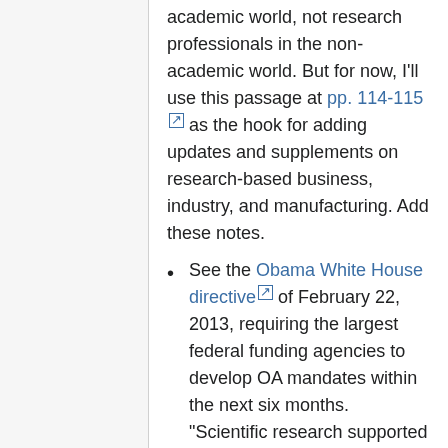academic world, not research professionals in the non-academic world. But for now, I'll use this passage at pp. 114-115 as the hook for adding updates and supplements on research-based business, industry, and manufacturing. Add these notes.
See the Obama White House directive of February 22, 2013, requiring the largest federal funding agencies to develop OA mandates within the next six months. "Scientific research supported by the Federal Government catalyzes innovative breakthroughs that drive our economy. The results of that research become the grist for new insights and are assets for